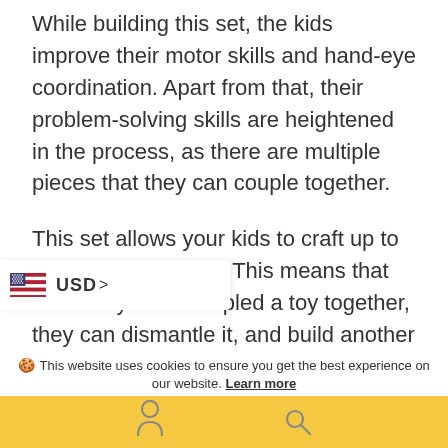While building this set, the kids improve their motor skills and hand-eye coordination. Apart from that, their problem-solving skills are heightened in the process, as there are multiple pieces that they can couple together.
This set allows your kids to craft up to five varying models. This means that once they have coupled a toy together, they can dismantle it, and build another one. If you want to increase their creativity, this will be e for them.
USD > This website uses cookies to ensure you get the best experience on our website. Learn more  Got it